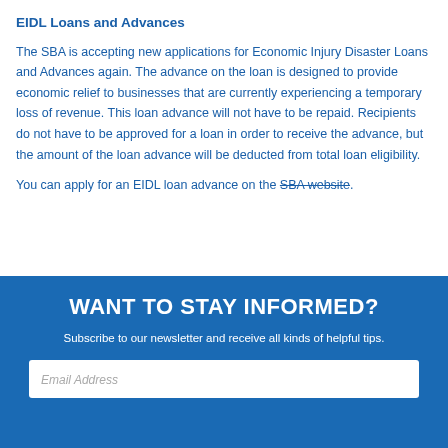EIDL Loans and Advances
The SBA is accepting new applications for Economic Injury Disaster Loans and Advances again. The advance on the loan is designed to provide economic relief to businesses that are currently experiencing a temporary loss of revenue. This loan advance will not have to be repaid. Recipients do not have to be approved for a loan in order to receive the advance, but the amount of the loan advance will be deducted from total loan eligibility.
You can apply for an EIDL loan advance on the SBA website.
WANT TO STAY INFORMED?
Subscribe to our newsletter and receive all kinds of helpful tips.